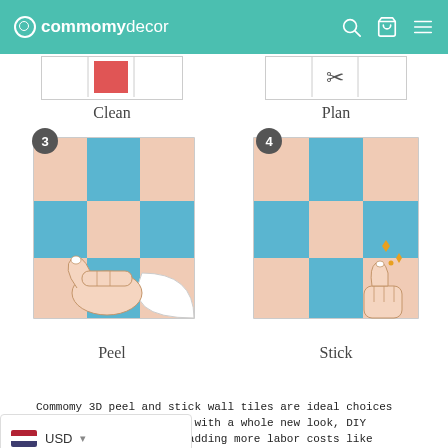commomydecor [search] [cart] [menu]
[Figure (illustration): Step 1 Clean - partial top of illustration showing a red square on white tile grid]
Clean
[Figure (illustration): Step 2 Plan - partial top of illustration showing scissors icon on white tile grid]
Plan
[Figure (illustration): Step 3 Peel - hand peeling corner of blue and peach checkerboard tile sticker from white tile wall]
Peel
[Figure (illustration): Step 4 Stick - completed blue and peach checkerboard tile pattern with thumbs up and sparkles]
Stick
Commomy 3D peel and stick wall tiles are ideal choices for interior wall decor with a whole new look, DIY within minutes without adding more labor costs like traditional tiles! Get ready to fall in love with your wall! Shop More pattern and commomy 3D Peel and Stick Wall Tile.